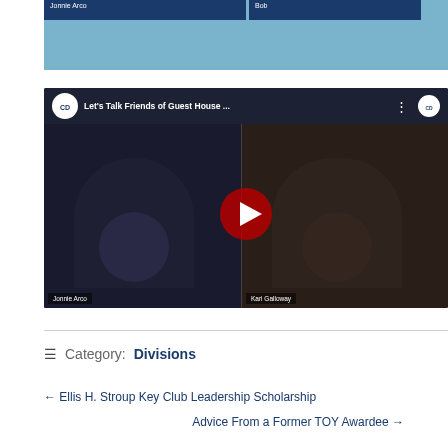[Figure (screenshot): Top portion of a video call screenshot showing two participants: Jonnie Arco (left) and Bob (right), with blue background]
[Figure (screenshot): YouTube video thumbnail for 'Let's Talk Friends of Guest House ...' by Capital District Guest House, showing two participants: Jonnie Arco and Kari Galloway, with a red play button overlay]
Category: Divisions
← Ellis H. Stroup Key Club Leadership Scholarship
Advice From a Former TOY Awardee →